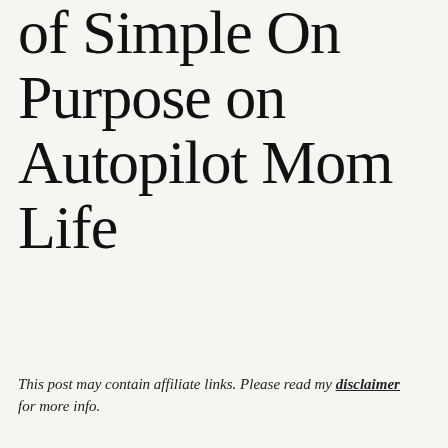of Simple On Purpose on Autopilot Mom Life
[Figure (screenshot): Podcast player widget for Optimal Relationships Daily, episode 624: Getting Started with Intentional Par... showing play button, progress bar, time 00:00:00, and control icons for subscribe, download, embed, and share.]
This post may contain affiliate links. Please read my disclaimer for more info.